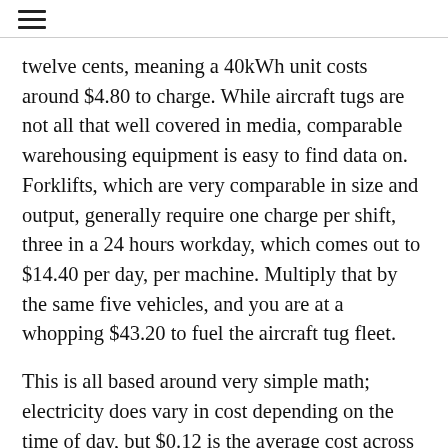≡
twelve cents, meaning a 40kWh unit costs around $4.80 to charge. While aircraft tugs are not all that well covered in media, comparable warehousing equipment is easy to find data on. Forklifts, which are very comparable in size and output, generally require one charge per shift, three in a 24 hours workday, which comes out to $14.40 per day, per machine. Multiply that by the same five vehicles, and you are at a whopping $43.20 to fuel the aircraft tug fleet.
This is all based around very simple math; electricity does vary in cost depending on the time of day, but $0.12 is the average cost across the